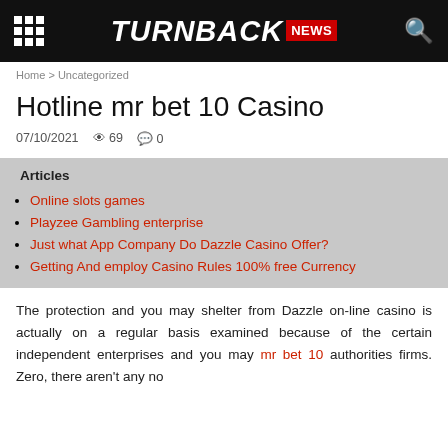TURNBACK NEWS
Home > Uncategorized
Hotline mr bet 10 Casino
07/10/2021  69  0
Articles
Online slots games
Playzee Gambling enterprise
Just what App Company Do Dazzle Casino Offer?
Getting And employ Casino Rules 100% free Currency
The protection and you may shelter from Dazzle on-line casino is actually on a regular basis examined because of the certain independent enterprises and you may mr bet 10 authorities firms. Zero, there aren't any no